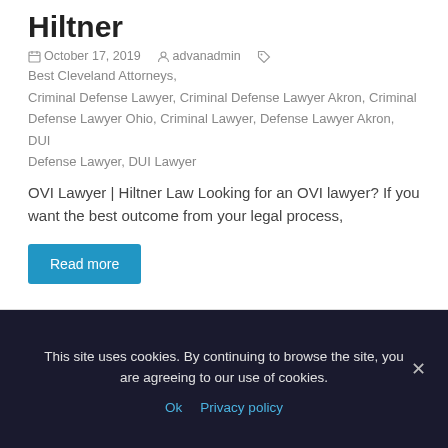Hiltner
October 17, 2019   advanadmin   Best Cleveland Attorneys, Criminal Defense Lawyer, Criminal Defense Lawyer Akron, Criminal Defense Lawyer Ohio, Criminal Lawyer, Defense Lawyer Akron, DUI Defense Lawyer, DUI Lawyer
OVI Lawyer | Hiltner Law Looking for an OVI lawyer?  If you want the best outcome from your legal process,
Read more
This site uses cookies. By continuing to browse the site, you are agreeing to our use of cookies.
Ok   Privacy policy